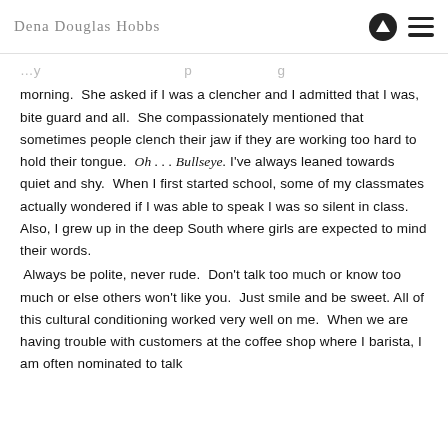Dena Douglas Hobbs
morning.  She asked if I was a clencher and I admitted that I was, bite guard and all.  She compassionately mentioned that sometimes people clench their jaw if they are working too hard to hold their tongue.  Oh . . . Bullseye. I've always leaned towards quiet and shy.  When I first started school, some of my classmates actually wondered if I was able to speak I was so silent in class. Also, I grew up in the deep South where girls are expected to mind their words.
 Always be polite, never rude.  Don't talk too much or know too much or else others won't like you.  Just smile and be sweet. All of this cultural conditioning worked very well on me.  When we are having trouble with customers at the coffee shop where I barista, I am often nominated to talk